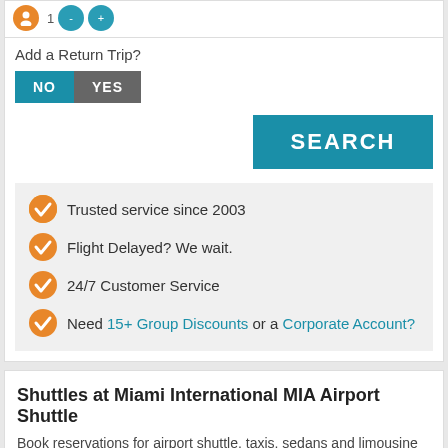[Figure (infographic): Person icon (orange) with number 1, and two teal circle icons]
Add a Return Trip?
[Figure (infographic): Toggle buttons: NO (teal/selected) and YES (gray)]
[Figure (infographic): SEARCH button in teal]
Trusted service since 2003
Flight Delayed? We wait.
24/7 Customer Service
Need 15+ Group Discounts or a Corporate Account?
Shuttles at Miami International MIA Airport Shuttle
Book reservations for airport shuttle, taxis, sedans and limousine service to and from the airport.
MIA Shuttle Transfers
Find some of the top providers for airport pick up and